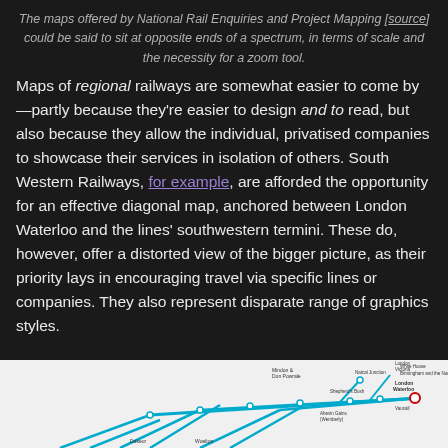The maps offered by National Rail Enquiries and Project Mapping [source] could be said to sit at opposite ends of a spectrum, in terms of scale and the necessity for a zoom tool.
Maps of regional railways are somewhat easier to come by—partly because they're easier to design and to read, but also because they allow the individual, privatised companies to showcase their services in isolation of others. South Western Railways, for example, are afforded the opportunity for an effective diagonal map, anchored between London Waterloo and the lines' southwestern termini. These do, however, offer a distorted view of the bigger picture, as their priority lays in encouraging travel via specific lines or companies. They also represent disparate range of graphics styles.
[Figure (map): Partial view of a South Western Railways route map showing lines from various stations converging toward London Waterloo, with station names and route lines in teal/blue on a light background.]